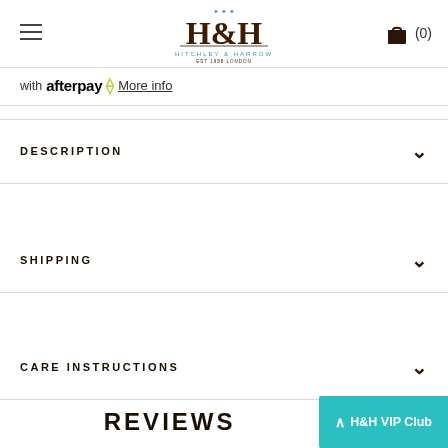Hitchley & Harrow — navigation header with logo and cart
with afterpay More info
DESCRIPTION
SHIPPING
CARE INSTRUCTIONS
REVIEWS
H&H VIP Club